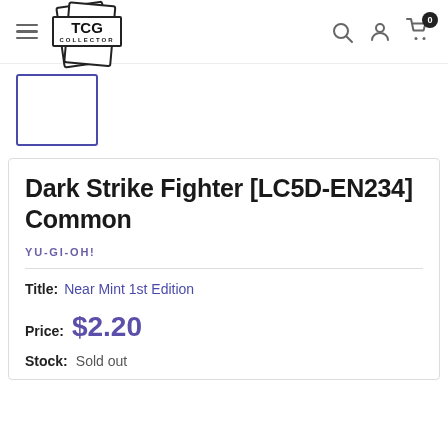TCG Collector — navigation header with hamburger menu, logo, search, account, and cart (0 items)
[Figure (other): Product image placeholder: empty box with purple/indigo border]
Dark Strike Fighter [LC5D-EN234] Common
YU-GI-OH!
Title: Near Mint 1st Edition
Price: $2.20
Stock: Sold out